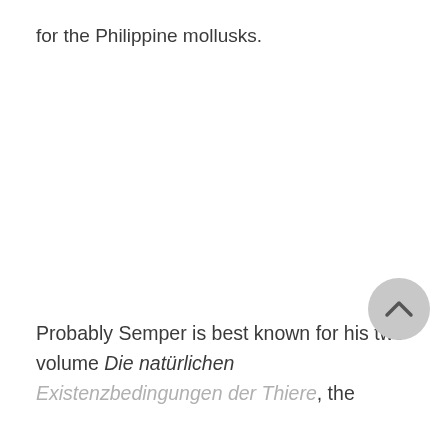for the Philippine mollusks.
Probably Semper is best known for his two-volume Die natürlichen Existenzbedingungen der Thiere, the